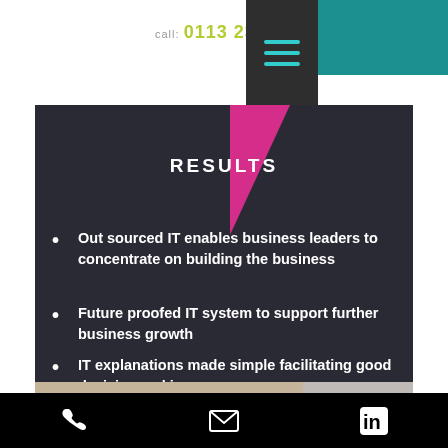call: 0113 234 1548
RESULTS
Out sourced IT enables business leaders to concentrate on building the business
Future proofed IT system to support further business growth
IT explanations made simple facilitating good decision making
Accounts are attached in one active directory, making it easier to create and close accounts
[Figure (photo): Bottom strip showing partial text 'Enjoy Digital Comm' and partial number/logo on grey background]
Phone | Email | LinkedIn icons